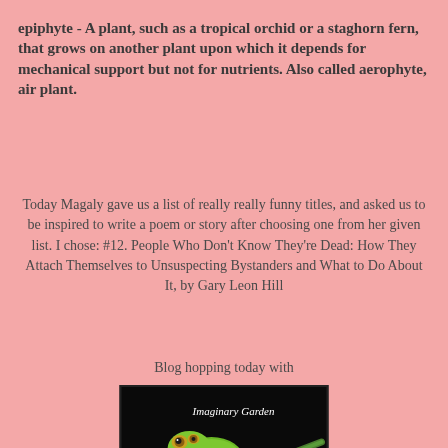epiphyte - A plant, such as a tropical orchid or a staghorn fern, that grows on another plant upon which it depends for mechanical support but not for nutrients. Also called aerophyte, air plant.
Today Magaly gave us a list of really really funny titles, and asked us to be inspired to write a poem or story after choosing one from her given list. I chose: #12. People Who Don't Know They're Dead: How They Attach Themselves to Unsuspecting Bystanders and What to Do About It, by Gary Leon Hill
Blog hopping today with
[Figure (photo): Photo of two green tree frogs on a branch against a black background, with text 'Imaginary Garden With Real Toads']